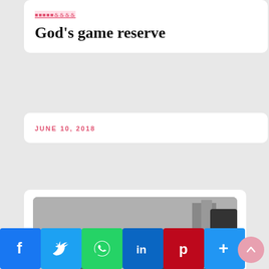God’s game reserve
JUNE 10, 2018
[Figure (photo): Black and white photograph of a person lying on a bench outdoors, leaning back with head tilted, wearing a striped shirt, with blurred background of people and buildings.]